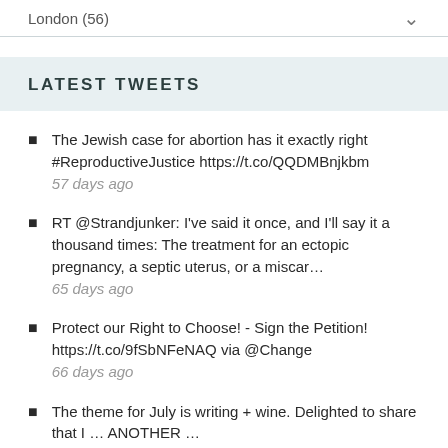London (56)
LATEST TWEETS
The Jewish case for abortion has it exactly right #ReproductiveJustice https://t.co/QQDMBnjkbm
57 days ago
RT @Strandjunker: I've said it once, and I'll say it a thousand times: The treatment for an ectopic pregnancy, a septic uterus, or a miscar…
65 days ago
Protect our Right to Choose! - Sign the Petition! https://t.co/9fSbNFeNAQ via @Change
66 days ago
The theme for July is writing + wine. Delighted to share that I … ANOTHER …